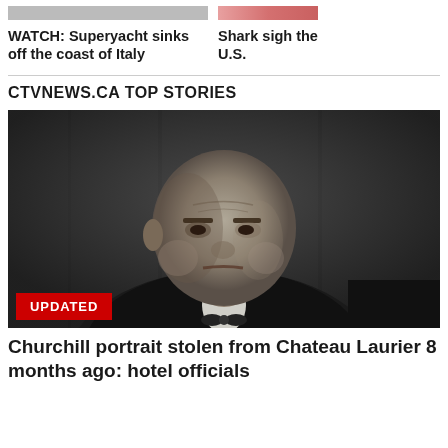[Figure (photo): Partial top image strip (gray bar) on left side]
[Figure (photo): Partial top image strip (pink/red tones) on right side]
WATCH: Superyacht sinks off the coast of Italy
Shark sigh the U.S.
CTVNEWS.CA TOP STORIES
[Figure (photo): Black and white photo of Winston Churchill looking stern, with UPDATED badge overlay]
UPDATED
Churchill portrait stolen from Chateau Laurier 8 months ago: hotel officials